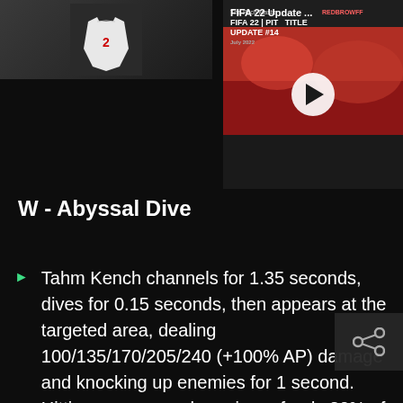[Figure (screenshot): Game wiki / video app screenshot showing thumbnail of jersey and FIFA 22 Update video thumbnail with play button]
W - Abyssal Dive
Tahm Kench channels for 1.35 seconds, dives for 0.15 seconds, then appears at the targeted area, dealing 100/135/170/205/240 (+100% AP) damage and knocking up enemies for 1 second. Hitting an enemy champion refunds 30% of its cooldown and mana cost. Tahm Kench can take Devoured allies along for the ride (allies can always eject before the channel finishes). Enemies cannot see where Tahm Kench is